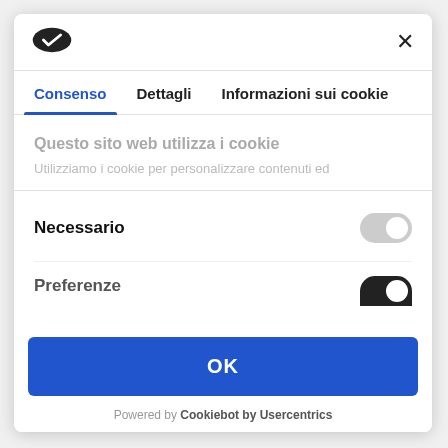[Figure (logo): Cookiebot logo — dark oval cookie icon with a checkmark]
×
Consenso	Dettagli	Informazioni sui cookie
Questo sito web utilizza i cookie
Utilizziamo i cookie per personalizzare contenuti ed
Necessario
Preferenze
OK
Powered by Cookiebot by Usercentrics